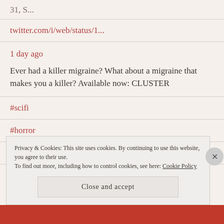31, S...
twitter.com/i/web/status/1...
1 day ago
Ever had a killer migraine? What about a migraine that makes you a killer? Available now: CLUSTER
#scifi
#horror
...
twitter.com/i/web/status/1...
Privacy & Cookies: This site uses cookies. By continuing to use this website, you agree to their use. To find out more, including how to control cookies, see here: Cookie Policy
Close and accept